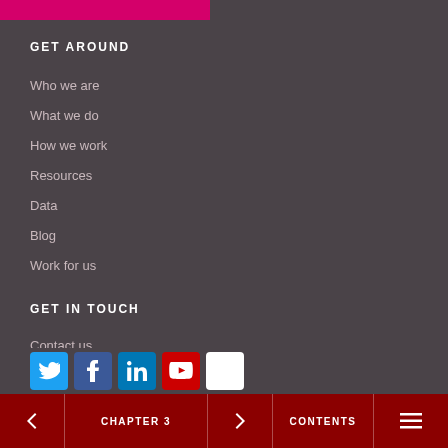GET AROUND
Who we are
What we do
How we work
Resources
Data
Blog
Work for us
GET IN TOUCH
Contact us
Media centre
< CHAPTER 3 > CONTENTS ☰